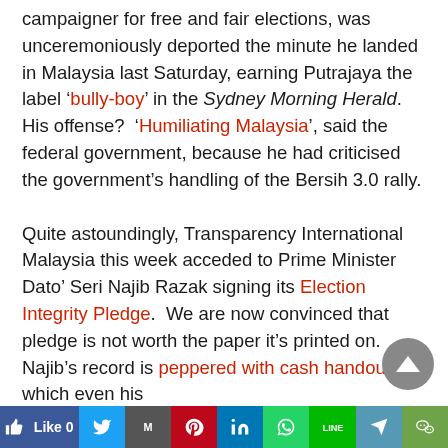campaigner for free and fair elections, was unceremoniously deported the minute he landed in Malaysia last Saturday, earning Putrajaya the label 'bully-boy' in the Sydney Morning Herald. His offense?  'Humiliating Malaysia', said the federal government, because he had criticised the government's handling of the Bersih 3.0 rally.

Quite astoundingly, Transparency International Malaysia this week acceded to Prime Minister Dato' Seri Najib Razak signing its Election Integrity Pledge.  We are now convinced that pledge is not worth the paper it's printed on. Najib's record is peppered with cash handouts, which even his